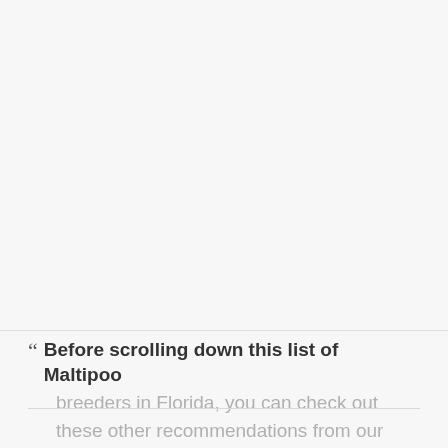[Figure (photo): Large image placeholder area occupying the top two-thirds of the page, light gray background]
“ Before scrolling down this list of Maltipoo breeders in Florida, you can check out these other recommendations from our team at